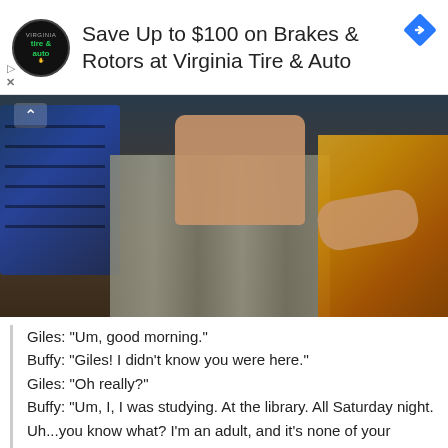[Figure (screenshot): Advertisement banner for Virginia Tire & Auto with circular logo, text 'Save Up to $100 on Brakes & Rotors at Virginia Tire & Auto', and a blue diamond navigation icon]
[Figure (screenshot): A still from a TV show (Buffy the Vampire Slayer) showing a man in a striped shirt being grabbed from behind, with a blue computer monitor visible in the background]
Giles: "Um, good morning."
Buffy: "Giles! I didn't know you were here."
Giles: "Oh really?"
Buffy: "Um, I, I was studying. At the library. All Saturday night. Uh...you know what? I'm an adult, and it's none of your business where I